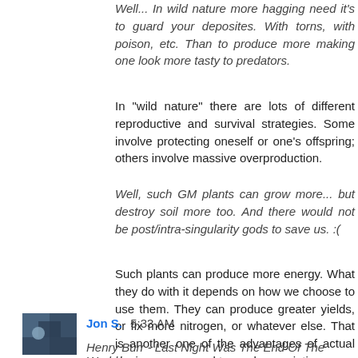Well... In wild nature more hagging need it's to guard your deposites. With torns, with poison, etc. Than to produce more making one look more tasty to predators.
In "wild nature" there are lots of different reproductive and survival strategies. Some involve protecting oneself or one's offspring; others involve massive overproduction.
Well, such GM plants can grow more... but destroy soil more too. And there would not be post/intra-singularity gods to save us. :(
Such plants can produce more energy. What they do with it depends on how we choose to use them. They can produce greater yields, or fix more nitrogen, or whatever else. That is another one of the advantages of actual design as opposed to random variation.
Reply
Jon S. 5:33 AM
Henry Burr - Last Night Was The End Of The World